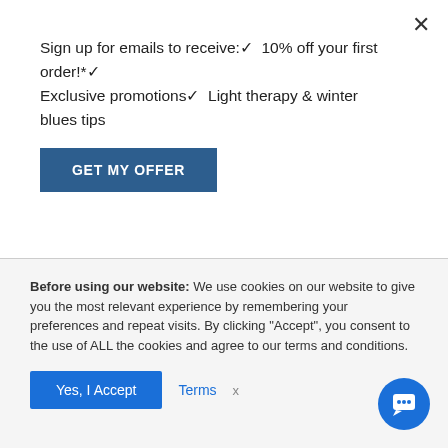Sign up for emails to receive:✓ 10% off your first order!*✓ Exclusive promotions✓ Light therapy & winter blues tips
GET MY OFFER
spending 20 minutes outside in good weather not only boosted positive mood, but broadened thinking and improved working memory…
This is pretty good news for those of us who are worried about fitting new habits into our already
Before using our website: We use cookies on our website to give you the most relevant experience by remembering your preferences and repeat visits. By clicking "Accept", you consent to the use of ALL the cookies and agree to our terms and conditions.
Yes, I Accept
Terms
x